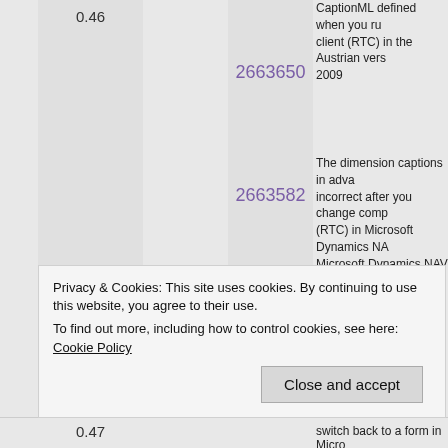|  | Version |  | KB | Description |
| --- | --- | --- | --- | --- |
|  | 0.46 |  | 2663650 | CaptionML defined when you run client (RTC) in the Austrian vers 2009 |
|  |  |  | 2663582 | The dimension captions in adva incorrect after you change comp (RTC) in Microsoft Dynamics NA Microsoft Dynamics NAV 2009 c |
|  |  |  | 2659383 | -1854259663 |
|  |  |  | 2662791 | "Table xxxx is compiled with old when you start the RoleTailored 2009 R2 |
|  |  |  | 2656823 | The "Export to Excel" functional page in the RoleTailored client ( 2009 |
|  | 0.47 |  |  | switch back to a form in Micro |
Privacy & Cookies: This site uses cookies. By continuing to use this website, you agree to their use.
To find out more, including how to control cookies, see here: Cookie Policy
Close and accept